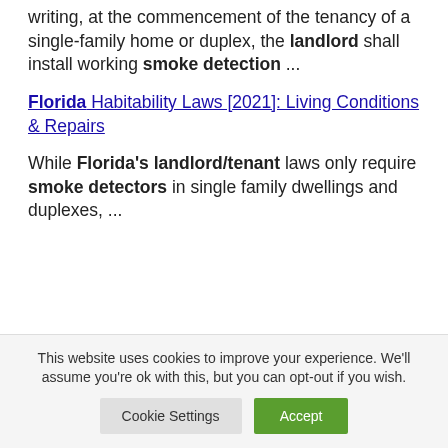writing, at the commencement of the tenancy of a single-family home or duplex, the landlord shall install working smoke detection ...
Florida Habitability Laws [2021]: Living Conditions & Repairs
While Florida's landlord/tenant laws only require smoke detectors in single family dwellings and duplexes, ...
This website uses cookies to improve your experience. We'll assume you're ok with this, but you can opt-out if you wish.